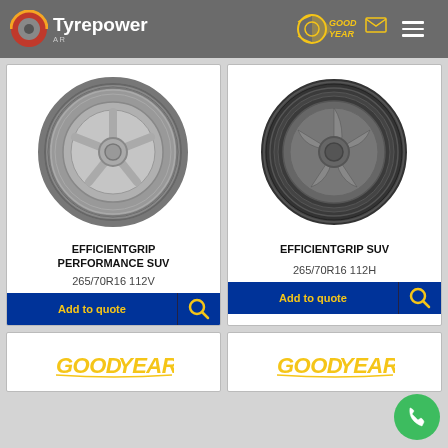[Figure (screenshot): Tyrepower website header with logo, Goodyear logo, and hamburger menu on grey background]
[Figure (photo): Goodyear EfficientGrip Performance SUV tyre image - grey alloy wheel with tyre]
EFFICIENTGRIP PERFORMANCE SUV
265/70R16 112V
[Figure (photo): Goodyear EfficientGrip SUV tyre image - dark alloy wheel with tyre]
EFFICIENTGRIP SUV
265/70R16 112H
[Figure (logo): Goodyear logo in yellow italic script on white card - bottom left partial card]
[Figure (logo): Goodyear logo in yellow italic script on white card - bottom right partial card]